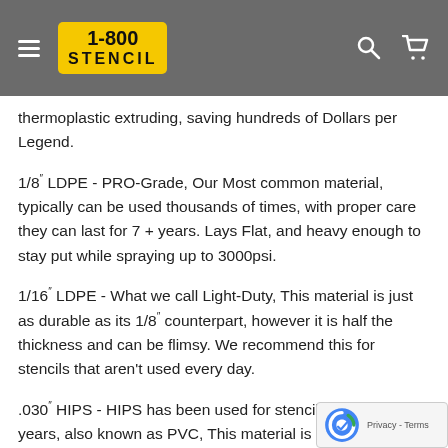1-800 STENCIL
thermoplastic extruding, saving hundreds of Dollars per Legend.
1/8" LDPE - PRO-Grade, Our Most common material, typically can be used thousands of times, with proper care they can last for 7 + years. Lays Flat, and heavy enough to stay put while spraying up to 3000psi.
1/16" LDPE - What we call Light-Duty, This material is just as durable as its 1/8" counterpart, however it is half the thickness and can be flimsy. We recommend this for stencils that aren't used every day.
.030" HIPS - HIPS has been used for stencils for many years, also known as PVC, This material is great for a custom stencil or something that is only used a few times. HIPS lays flat right out of the box and is our more cost effective option, while still being 4 times...